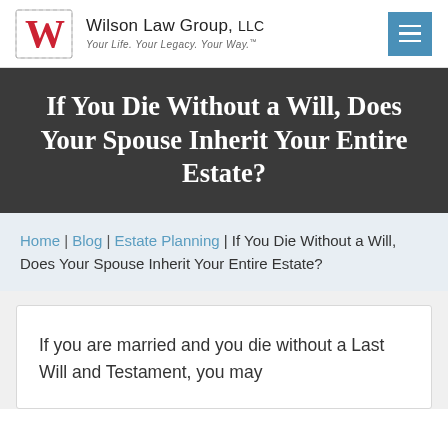Wilson Law Group, LLC — Your Life. Your Legacy. Your Way.
If You Die Without a Will, Does Your Spouse Inherit Your Entire Estate?
Home | Blog | Estate Planning | If You Die Without a Will, Does Your Spouse Inherit Your Entire Estate?
If you are married and you die without a Last Will and Testament, you may